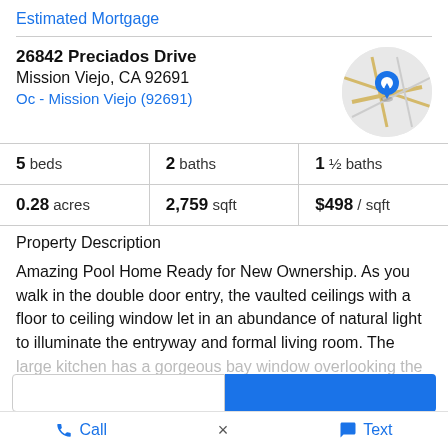Estimated Mortgage
26842 Preciados Drive
Mission Viejo, CA 92691
Oc - Mission Viejo (92691)
[Figure (map): Circular map thumbnail showing location pin on street map]
5 beds | 2 baths | 1 ½ baths
0.28 acres | 2,759 sqft | $498 / sqft
Property Description
Amazing Pool Home Ready for New Ownership. As you walk in the double door entry, the vaulted ceilings with a floor to ceiling window let in an abundance of natural light to illuminate the entryway and formal living room. The
large kitchen has a gorgeous bay window overlooking the
Call | Text